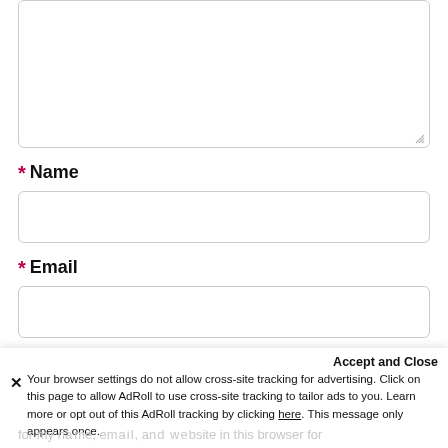[Figure (screenshot): Textarea form field (comment box) with rounded border, partially visible at top of page, with resize handle at bottom-right corner]
* Name
[Figure (screenshot): Text input field for Name with rounded border]
* Email
[Figure (screenshot): Text input field for Email with rounded border]
Website
[Figure (screenshot): Partially visible text input field for Website, cut off at bottom]
Accept and Close
Your browser settings do not allow cross-site tracking for advertising. Click on this page to allow AdRoll to use cross-site tracking to tailor ads to you. Learn more or opt out of this AdRoll tracking by clicking here. This message only appears once.